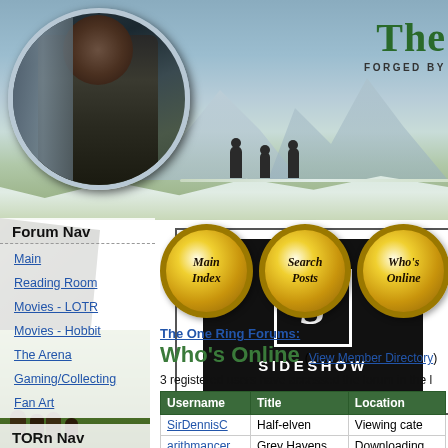[Figure (screenshot): Website header with fantasy/LOTR-themed background image, circular portrait of a dwarf character, walking figures silhouette, and partial site title 'The' with tagline 'FORGED BY']
[Figure (logo): Sideshow advertisement with black background, stylized S logo, and SIDESHOW text]
Forum Nav
Main
Reading Room
Movies - LOTR
Movies - Hobbit
The Arena
Gaming/Collecting
Fan Art
TORn Nav
Home
[Figure (screenshot): Three gold circular buttons labeled Main Index, Search Posts, Who's Online]
The One Ring Forums:
Who's Online (View Member Directory)
3 registered users have accessed the forum in the l
| Username | Title | Location |
| --- | --- | --- |
| SirDennisC | Half-elven | Viewing cate... |
| arithmancer | Grey Havens | Downloading... |